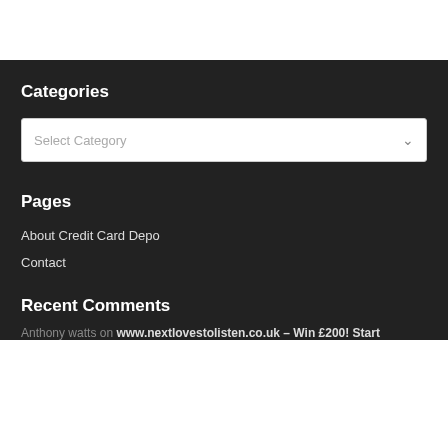Categories
[Figure (screenshot): A dropdown select box with placeholder text 'Select Category' and a chevron on the right, on a white background.]
Pages
About Credit Card Depo
Contact
Recent Comments
Anthony watts on www.nextlovestolisten.co.uk – Win £200! Start